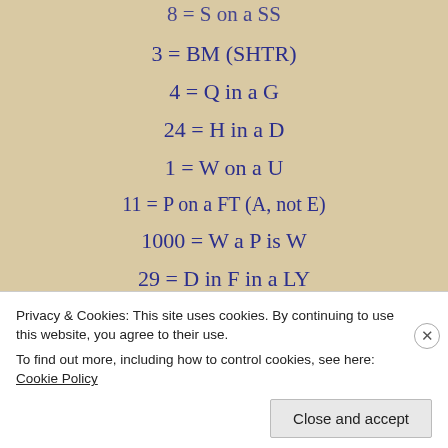8 = S on a SS
3 = BM (SHTR)
4 = Q in a G
24 = H in a D
1 = W on a U
11 = P on a FT (A, not E)
1000 = W a P is W
29 = D in F in a LY
64 = S on a CB
Privacy & Cookies: This site uses cookies. By continuing to use this website, you agree to their use. To find out more, including how to control cookies, see here: Cookie Policy